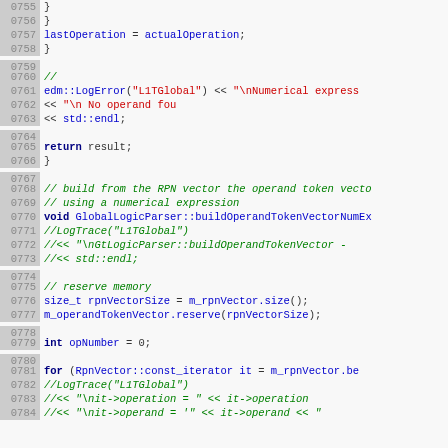[Figure (screenshot): Source code listing showing C++ code for GlobalLogicParser class, lines 0755 to 0784, with syntax highlighting: line numbers in gray background, keywords in bold dark blue, function/variable names in blue, string literals in red, comments in green italic.]